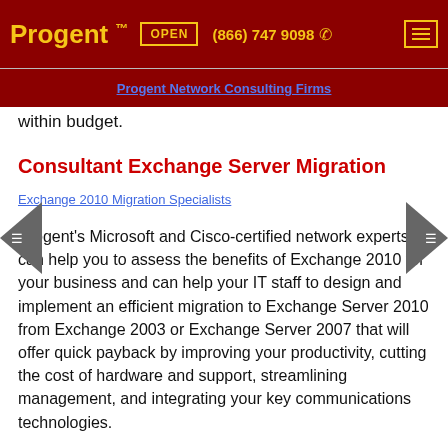Progent™  OPEN  (866) 747 9098  ☎
Progent Network Consulting Firms
within budget.
Consultant Exchange Server Migration
Exchange 2010 Migration Specialists
Progent's Microsoft and Cisco-certified network experts can help you to assess the benefits of Exchange 2010 for your business and can help your IT staff to design and implement an efficient migration to Exchange Server 2010 from Exchange 2003 or Exchange Server 2007 that will offer quick payback by improving your productivity, cutting the cost of hardware and support, streamlining management, and integrating your key communications technologies.